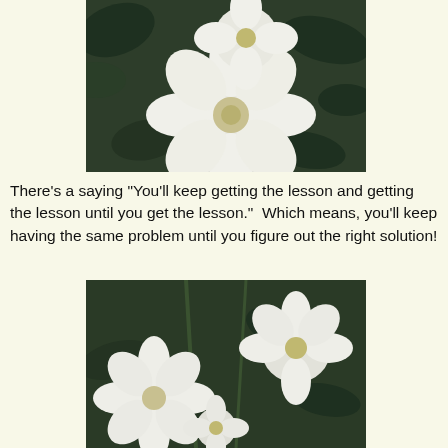[Figure (photo): Close-up photograph of white roses or flowers with green leaves in the background]
There's a saying "You'll keep getting the lesson and getting the lesson until you get the lesson."  Which means, you'll keep having the same problem until you figure out the right solution!
[Figure (photo): Photograph of multiple white flowers (roses) with green foliage in the background]